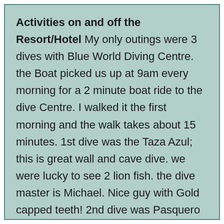Activities on and off the Resort/Hotel My only outings were 3 dives with Blue World Diving Centre. the Boat picked us up at 9am every morning for a 2 minute boat ride to the dive Centre. I walked it the first morning and the walk takes about 15 minutes. 1st dive was the Taza Azul; this is great wall and cave dive. we were lucky to see 2 lion fish. the dive master is Michael. Nice guy with Gold capped teeth! 2nd dive was Pasquero Sponge; dive master Michael brought some baitfish (maqueral??) and broke it up as we swam. it attracted a school of Rusty